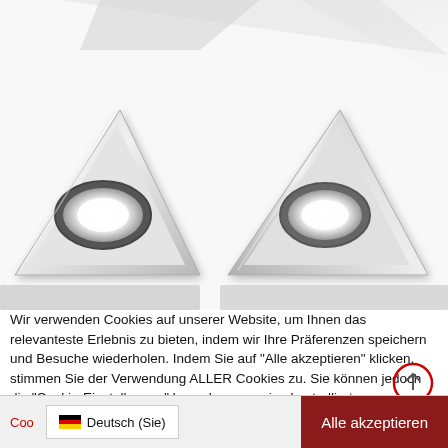[Figure (photo): Product photo showing triangular LED under-cabinet lights in silver/chrome finish, two fully visible triangular spotlights with oval LED lenses, and partial views of two more at edges. Background is white/light gray.]
Wir verwenden Cookies auf unserer Website, um Ihnen das relevanteste Erlebnis zu bieten, indem wir Ihre Präferenzen speichern und Besuche wiederholen. Indem Sie auf "Alle akzeptieren" klicken, stimmen Sie der Verwendung ALLER Cookies zu. Sie können jedoch die "Cookie-Einstellungen" besuchen, um eine kontrollierte Zustimmung zu erteilen.
Coo... | Deutsch (Sie) | Alle akzeptieren